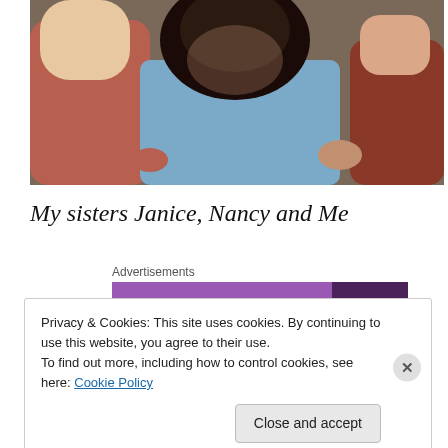[Figure (photo): A photograph of three people, with a person in a blue shirt in the center with a beard, flanked by others. Partial view cropped at top.]
My sisters Janice, Nancy and Me
Advertisements
[Figure (other): Purple advertisement banner]
Privacy & Cookies: This site uses cookies. By continuing to use this website, you agree to their use.
To find out more, including how to control cookies, see here: Cookie Policy
Close and accept